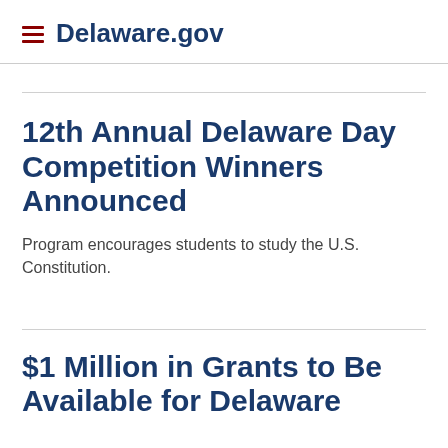Delaware.gov
12th Annual Delaware Day Competition Winners Announced
Program encourages students to study the U.S. Constitution.
$1 Million in Grants to Be Available for Delaware